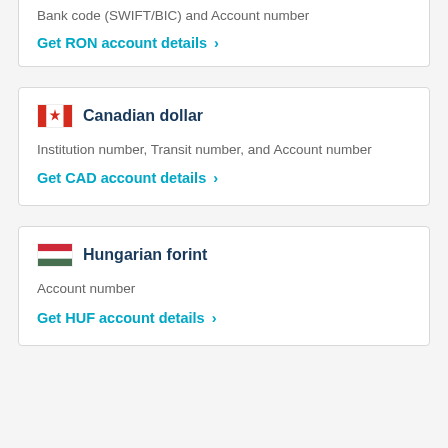Bank code (SWIFT/BIC) and Account number
Get RON account details >
Canadian dollar
Institution number, Transit number, and Account number
Get CAD account details >
Hungarian forint
Account number
Get HUF account details >